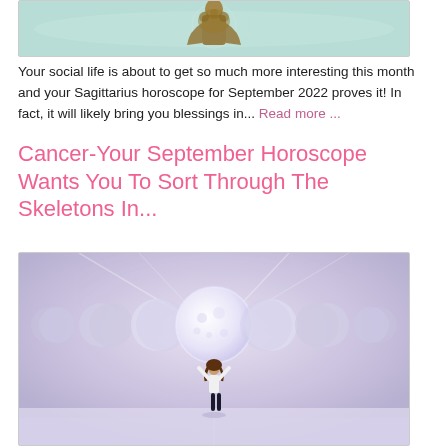[Figure (photo): Partial view of a Sagittarius horoscope illustration showing a decorative golden figure on a teal/mint background]
Your social life is about to get so much more interesting this month and your Sagittarius horoscope for September 2022 proves it! In fact, it will likely bring you blessings in... Read more ...
Cancer-Your September Horoscope Wants You To Sort Through The Skeletons In...
[Figure (photo): A woman standing with arms raised facing a large full moon surrounded by moon phases in various stages, set against a soft purple/lavender background with light rays]